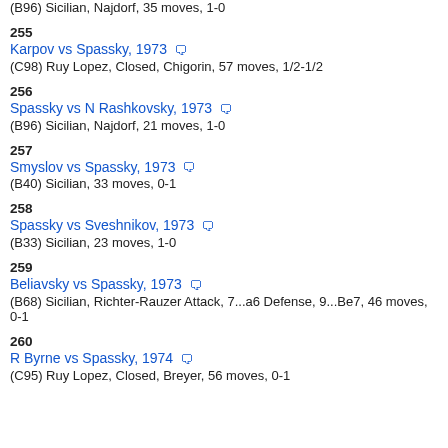(B96) Sicilian, Najdorf, 35 moves, 1-0
255
Karpov vs Spassky, 1973
(C98) Ruy Lopez, Closed, Chigorin, 57 moves, 1/2-1/2
256
Spassky vs N Rashkovsky, 1973
(B96) Sicilian, Najdorf, 21 moves, 1-0
257
Smyslov vs Spassky, 1973
(B40) Sicilian, 33 moves, 0-1
258
Spassky vs Sveshnikov, 1973
(B33) Sicilian, 23 moves, 1-0
259
Beliavsky vs Spassky, 1973
(B68) Sicilian, Richter-Rauzer Attack, 7...a6 Defense, 9...Be7, 46 moves, 0-1
260
R Byrne vs Spassky, 1974
(C95) Ruy Lopez, Closed, Breyer, 56 moves, 0-1